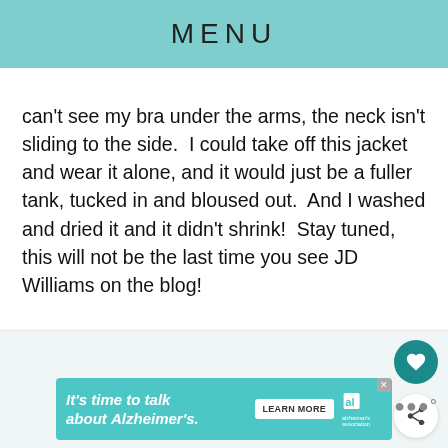MENU
can't see my bra under the arms, the neck isn't sliding to the side.  I could take off this jacket and wear it alone, and it would just be a fuller tank, tucked in and bloused out.  And I washed and dried it and it didn't shrink!  Stay tuned, this will not be the last time you see JD Williams on the blog!
[Figure (screenshot): Alzheimer's Association advertisement banner reading 'It's time to talk about Alzheimer's.' with a Learn More button and the Alzheimer's Association logo]